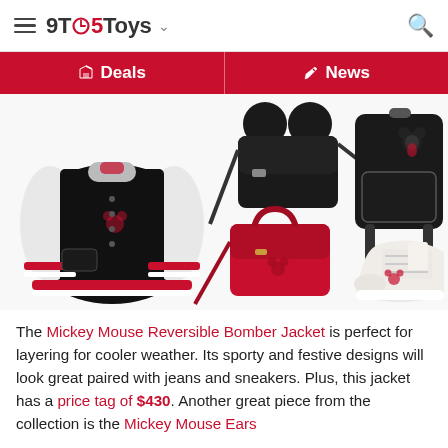9TO5Toys
Deals | News
[Figure (photo): Product collage: Mickey Mouse Reversible Bomber Jacket (black/white varsity style), Mickey Mouse Ears crossbody bag (black), Mickey Mouse backpack (black with Mickey embroidery), red crossbody bag with Mickey design, white sneakers with Mickey embroidery]
The Mickey Mouse Reversible Bomber Jacket is perfect for layering for cooler weather. Its sporty and festive designs will look great paired with jeans and sneakers. Plus, this jacket has a price tag of $430. Another great piece from the collection is the Mickey Mouse Ears